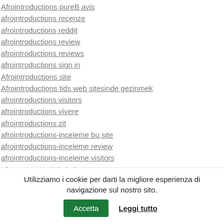Afrointroductions pureB avis
afrointroductions recenze
afrointroductions reddit
afrointroductions review
afrointroductions reviews
afrointroductions sign in
Afrointroductions site
Afrointroductions tids web sitesinde gezinmek
afrointroductions visitors
afrointroductions vivere
afrointroductions zit
afrointroductions-inceleme bu site
afrointroductions-inceleme review
afrointroductions-inceleme visitors
afroromance adult dating
afroromance apk premium
Utilizziamo i cookie per darti la migliore esperienza di navigazione sul nostro sito. Accetta Leggi tutto